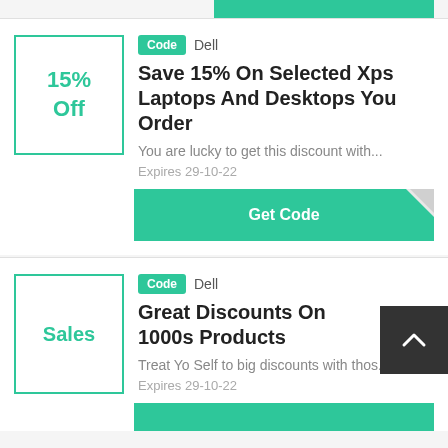[Figure (other): Top green bar partial view at top of page]
Code Dell
Save 15% On Selected Xps Laptops And Desktops You Order
You are lucky to get this discount with...
Expires 29-10-22
Get Code
Code Dell
Great Discounts On 1000s Products
Treat Yo Self to big discounts with thos...
Expires 29-10-22